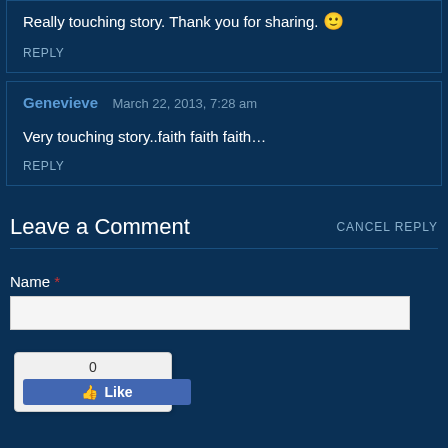Really touching story. Thank you for sharing. 🙂
REPLY
Genevieve  March 22, 2013, 7:28 am
Very touching story..faith faith faith…
REPLY
Leave a Comment
CANCEL REPLY
Name *
[Figure (screenshot): Facebook Like widget showing 0 likes with a blue Like button]